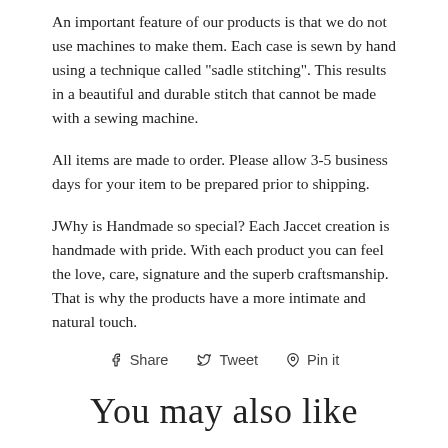An important feature of our products is that we do not use machines to make them. Each case is sewn by hand using a technique called "sadle stitching". This results in a beautiful and durable stitch that cannot be made with a sewing machine.
All items are made to order. Please allow 3-5 business days for your item to be prepared prior to shipping.
JWhy is Handmade so special? Each Jaccet creation is handmade with pride. With each product you can feel the love, care, signature and the superb craftsmanship. That is why the products have a more intimate and natural touch.
Share  Tweet  Pin it
You may also like